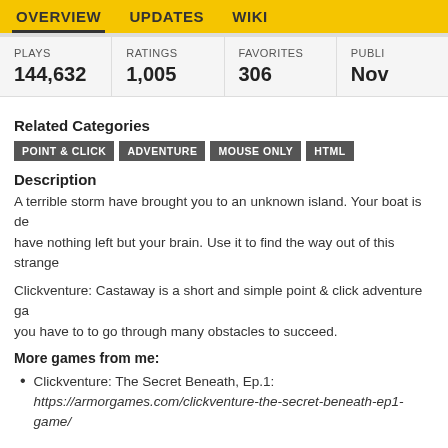OVERVIEW  UPDATES  WIKI
| PLAYS | RATINGS | FAVORITES | PUBLI... |
| --- | --- | --- | --- |
| 144,632 | 1,005 | 306 | Nov |
Related Categories
POINT & CLICK  ADVENTURE  MOUSE ONLY  HTML
Description
A terrible storm have brought you to an unknown island. Your boat is de... have nothing left but your brain. Use it to find the way out of this strange...
Clickventure: Castaway is a short and simple point & click adventure ga... you have to to go through many obstacles to succeed.
More games from me:
Clickventure: The Secret Beneath, Ep.1:
https://armorgames.com/clickventure-the-secret-beneath-ep1-game/
SnakeThat!:
https://incriscript.itch.io/snake-that